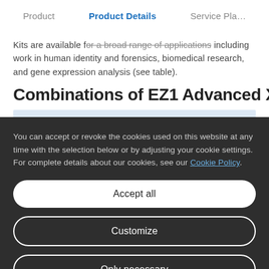Product | Product Details | Service Pla…
Kits are available for a broad range of applications including work in human identity and forensics, biomedical research, and gene expression analysis (see table).
Combinations of EZ1 Advanced XL Car…
You can accept or revoke the cookies used on this website at any time with the selection below or by adjusting your cookie settings. For complete details about our cookies, see our Cookie Policy.
Accept all
Customize
Only necessary